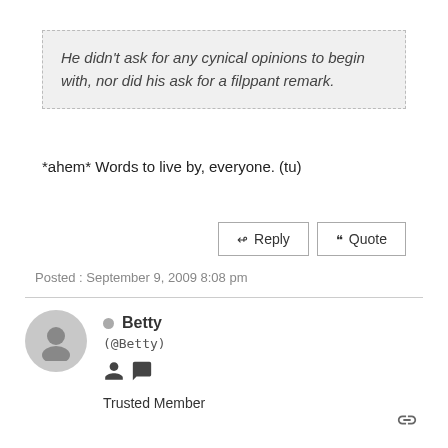He didn't ask for any cynical opinions to begin with, nor did his ask for a filppant remark.
*ahem* Words to live by, everyone. (tu)
Reply
Quote
Posted : September 9, 2009 8:08 pm
Betty
(@Betty)
Trusted Member